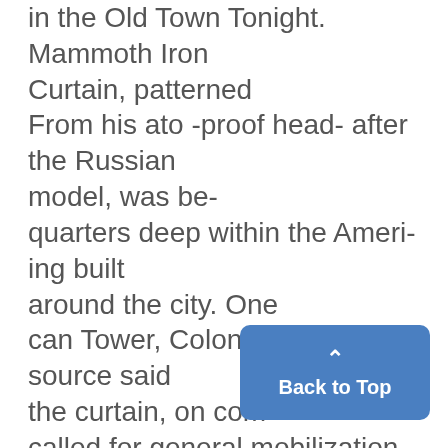in the Old Town Tonight. Mammoth Iron Curtain, patterned From his ato -proof head- after the Russian model, was be- quarters deep within the Ameri-ing built around the city. One can Tower, Colonel McReaper source said the curtain, on com- called for general mobilization pletion, would extend up into the against theg frces of reaction stratosphere, would be completely threatening "our freedom." He and would be equip- ited Chin...